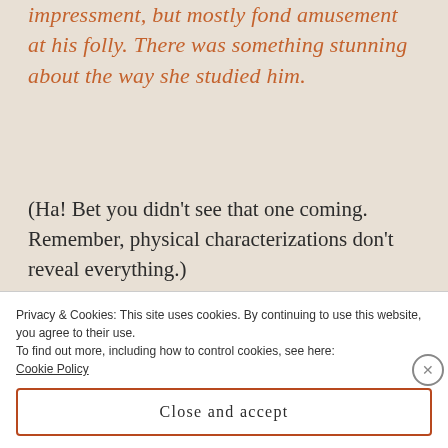impressment, but mostly fond amusement at his folly. There was something stunning about the way she studied him.
(Ha! Bet you didn't see that one coming. Remember, physical characterizations don't reveal everything.)
3. Overstuffing Adjectives
Privacy & Cookies: This site uses cookies. By continuing to use this website, you agree to their use.
To find out more, including how to control cookies, see here: Cookie Policy
Close and accept